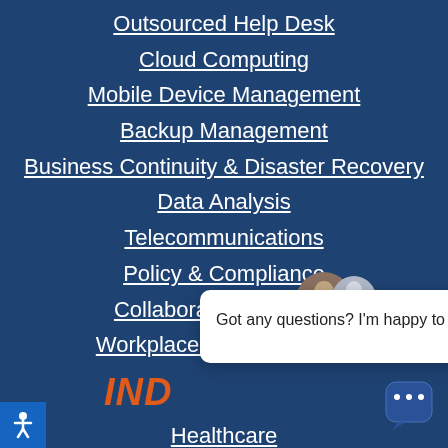Outsourced Help Desk
Cloud Computing
Mobile Device Management
Backup Management
Business Continuity & Disaster Recovery
Data Analysis
Telecommunications
Policy & Compliance
Collaboration Services
Workplace from Facebook
IND
Healthcare
Hospitality
Manufacturing
Accounting
[Figure (screenshot): Chat popup with avatar photos and message: Got any questions? I'm happy to help. with close X button]